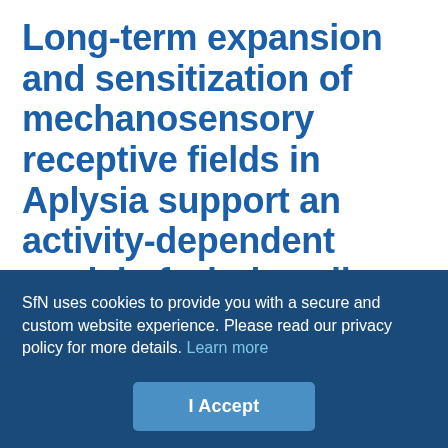Long-term expansion and sensitization of mechanosensory receptive fields in Aplysia support an activity-dependent model of whole-cell sensory plasticity
AJ Billy and ET Walters
Journal of Neuroscience 1 April 1989, 9 (4) 1254-1262; DOI: https://doi.org/10.1523/JNEUROSCI.09-04-01254.1989
SfN uses cookies to provide you with a secure and custom website experience. Please read our privacy policy for more details. Learn more